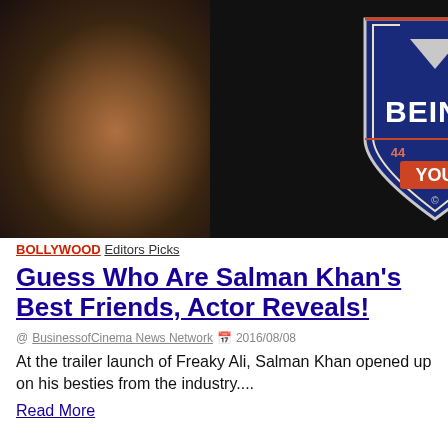[Figure (photo): Three-panel image strip: left panel shows a blurred brown/dark portrait photo, center panel shows a close-up of a 'Being You' branded t-shirt on a dark background, right panel shows a partially visible grey portrait photo.]
BOLLYWOOD Editors Picks
Guess Who Are Salman Khan's Best Friends, Actor Reveals!
@ BusinessofCinema News Network  2016/08/08
At the trailer launch of Freaky Ali, Salman Khan opened up on his besties from the industry....
Read More